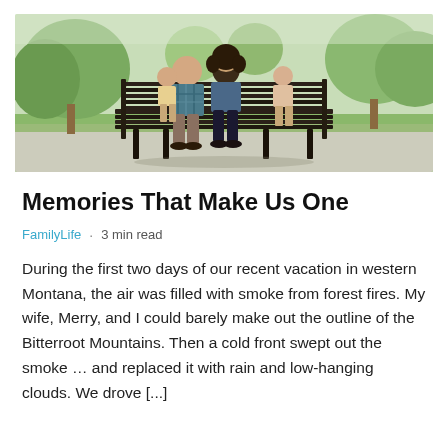[Figure (photo): Family of four sitting on a park bench from behind, in a green park setting with trees in background]
Memories That Make Us One
FamilyLife · 3 min read
During the first two days of our recent vacation in western Montana, the air was filled with smoke from forest fires. My wife, Merry, and I could barely make out the outline of the Bitterroot Mountains. Then a cold front swept out the smoke ... and replaced it with rain and low-hanging clouds. We drove [...]